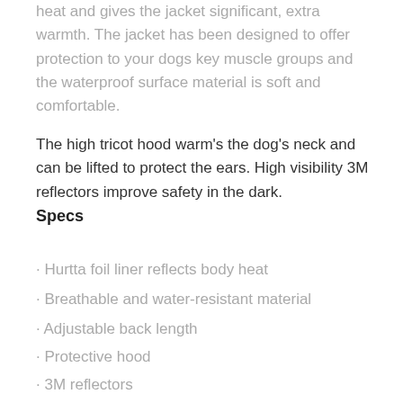heat and gives the jacket significant, extra warmth. The jacket has been designed to offer protection to your dogs key muscle groups and the waterproof surface material is soft and comfortable.
The high tricot hood warm's the dog's neck and can be lifted to protect the ears. High visibility 3M reflectors improve safety in the dark.
Specs
• Hurtta foil liner reflects body heat
• Breathable and water-resistant material
• Adjustable back length
• Protective hood
• 3M reflectors